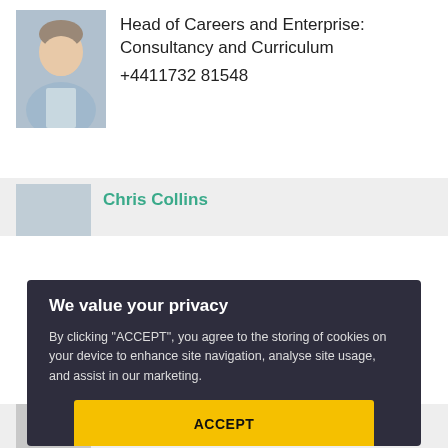[Figure (photo): Headshot photo of a man in a light blue shirt, smiling]
Head of Careers and Enterprise: Consultancy and Curriculum
+4411732 81548
Chris Collins
We value your privacy
By clicking "ACCEPT", you agree to the storing of cookies on your device to enhance site navigation, analyse site usage, and assist in our marketing.
ACCEPT
VIEW COOKIE SETTINGS
+4411732 86917